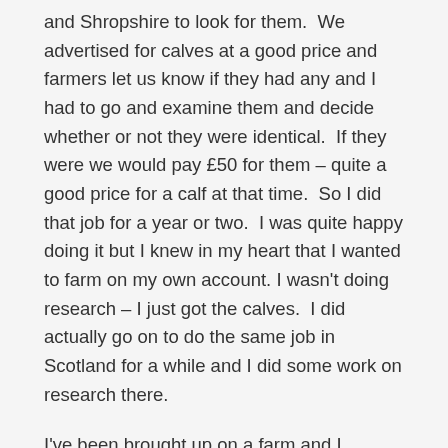and Shropshire to look for them. We advertised for calves at a good price and farmers let us know if they had any and I had to go and examine them and decide whether or not they were identical. If they were we would pay £50 for them – quite a good price for a calf at that time. So I did that job for a year or two. I was quite happy doing it but I knew in my heart that I wanted to farm on my own account. I wasn't doing research – I just got the calves. I did actually go on to do the same job in Scotland for a while and I did some work on research there.
I've been brought up on a farm and I wanted to farm on my own and I wasn't going to get into it by doing that sort of job. As I wanted to try and get a farm from Norfolk County Council I decided I better get